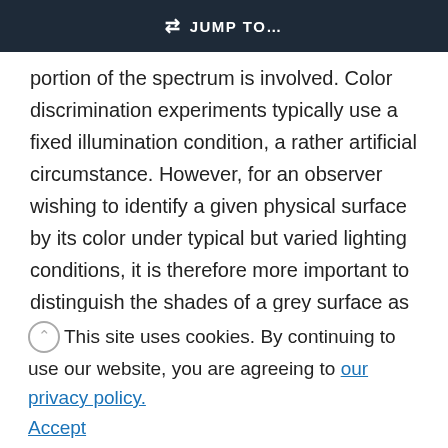JUMP TO...
portion of the spectrum is involved. Color discrimination experiments typically use a fixed illumination condition, a rather artificial circumstance. However, for an observer wishing to identify a given physical surface by its color under typical but varied lighting conditions, it is therefore more important to distinguish the shades of a grey surface as precisely as possible and less important to distinguish the exact tint of a red one. Similarly, there are very few reflectances leading to pure
white, with the limit being the ideal white created by a uniform 100% reflectance. The set of all color signals that a set of sensors can produce under a given light forms a convex hull in R^n, which is known
This site uses cookies. By continuing to use our website, you are agreeing to our privacy policy.
Accept